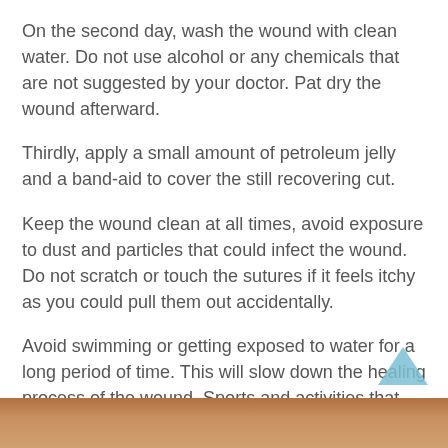On the second day, wash the wound with clean water. Do not use alcohol or any chemicals that are not suggested by your doctor. Pat dry the wound afterward.
Thirdly, apply a small amount of petroleum jelly and a band-aid to cover the still recovering cut.
Keep the wound clean at all times, avoid exposure to dust and particles that could infect the wound. Do not scratch or touch the sutures if it feels itchy as you could pull them out accidentally.
Avoid swimming or getting exposed to water for a long period of time. This will slow down the healing process of the wound. Sports and activities that can also directly affect your wound are not recommended. Having stitches in your arm and playing volleyball at the same time is not a good idea in the meantime.
[Figure (photo): Partial photo strip at bottom of page showing skin/flesh tones]